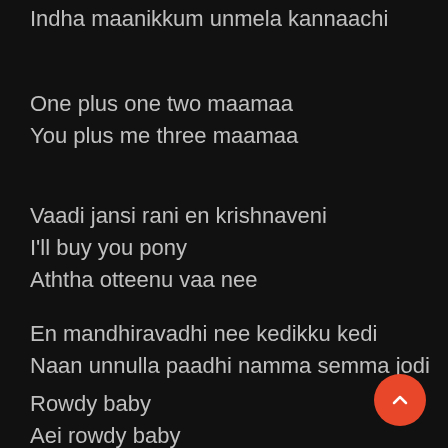Indha maanikkum unmela kannaachi
One plus one two maamaa
You plus me three maamaa
Vaadi jansi rani en krishnaveni
I'll buy you pony
Aththa otteenu vaa nee
En mandhiravadhi nee kedikku kedi
Naan unnulla paadhi namma semma jodi
Rowdy baby
Aei rowdy baby